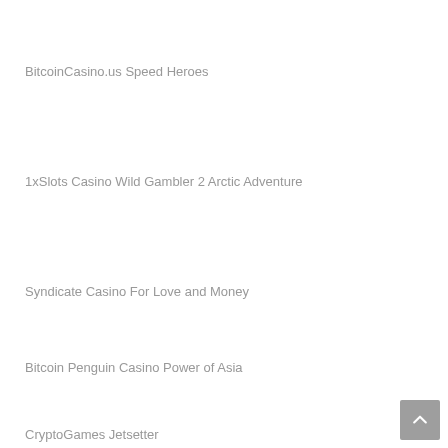BitcoinCasino.us Speed Heroes
1xSlots Casino Wild Gambler 2 Arctic Adventure
Syndicate Casino For Love and Money
Bitcoin Penguin Casino Power of Asia
CryptoGames Jetsetter